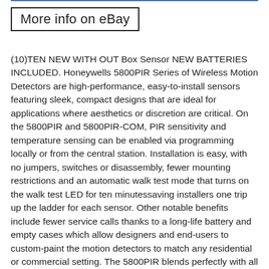[Figure (other): Blue horizontal line at top of page]
More info on eBay
(10)TEN NEW WITH OUT Box Sensor NEW BATTERIES INCLUDED. Honeywells 5800PIR Series of Wireless Motion Detectors are high-performance, easy-to-install sensors featuring sleek, compact designs that are ideal for applications where aesthetics or discretion are critical. On the 5800PIR and 5800PIR-COM, PIR sensitivity and temperature sensing can be enabled via programming locally or from the central station. Installation is easy, with no jumpers, switches or disassembly, fewer mounting restrictions and an automatic walk test mode that turns on the walk test LED for ten minutessaving installers one trip up the ladder for each sensor. Other notable benefits include fewer service calls thanks to a long-life battery and empty cases which allow designers and end-users to custom-paint the motion detectors to match any residential or commercial setting. The 5800PIR blends perfectly with all of the 5800 Series family of sensors for a seamless look. Faster and Easier to Install Specific features that contribute to this benefit include: Automatic walk test Flashlight walk test No DIP